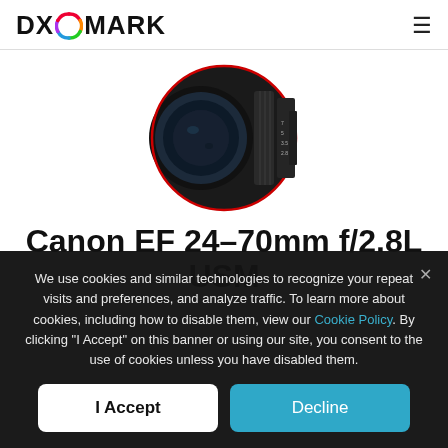DXOMARK
[Figure (photo): Canon EF 24-70mm f/2.8L USM lens photo — a black zoom lens with red ring detail, shown at an angle]
Canon EF 24-70mm f/2.8L USM
We use cookies and similar technologies to recognize your repeat visits and preferences, and analyze traffic. To learn more about cookies, including how to disable them, view our Cookie Policy. By clicking "I Accept" on this banner or using our site, you consent to the use of cookies unless you have disabled them.